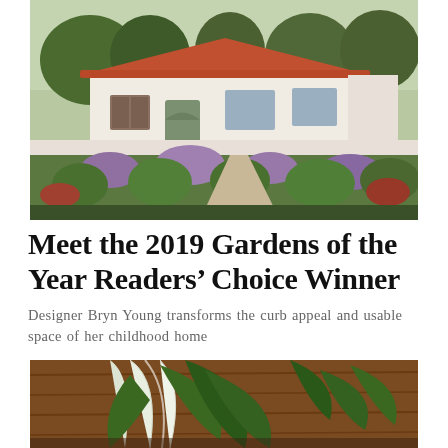[Figure (photo): Exterior photo of a Spanish-style white stucco house with red tile roof, surrounded by a lush garden with purple and pink wildflowers, ornamental grasses, and colorful plants along a brick-edged pathway.]
Meet the 2019 Gardens of the Year Readers' Choice Winner
Designer Bryn Young transforms the curb appeal and usable space of her childhood home
[Figure (photo): Close-up photo of fresh green vegetables including what appears to be bok choy or lettuce leaves on a wooden cutting board.]